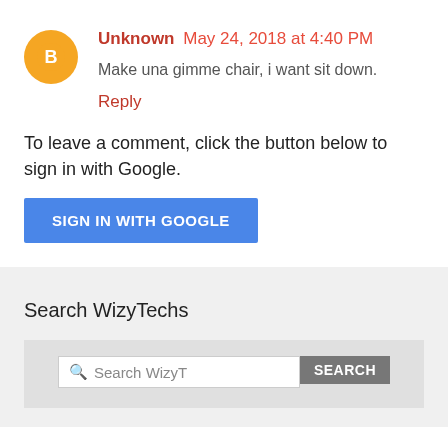Unknown May 24, 2018 at 4:40 PM
Make una gimme chair, i want sit down.
Reply
To leave a comment, click the button below to sign in with Google.
[Figure (other): SIGN IN WITH GOOGLE button (blue rectangle)]
Search WizyTechs
[Figure (screenshot): Search widget with search input and SEARCH button]